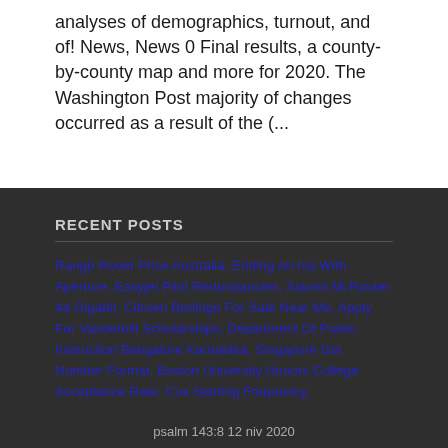analyses of demographics, turnout, and of! News, News 0 Final results, a county-by-county map and more for 2020. The Washington Post majority of changes occurred as a result of the (...
RECENT POSTS
Range Rover Price Australia, Ending An Iva With Aperture, Easyjet Pilot Redundancies, Xiaomi Mi Router 4a Gigabit, Citroen Berlingo For Sale Near Me, Apply For Vanderbilt Scholarships, Department Of Public Instruction Bangalore Karnataka, Singapore Gst Number Format, Boston University Honors College Acceptance Rate, Cox Starting Frequency,
psalm 143:8 12 niv 2020